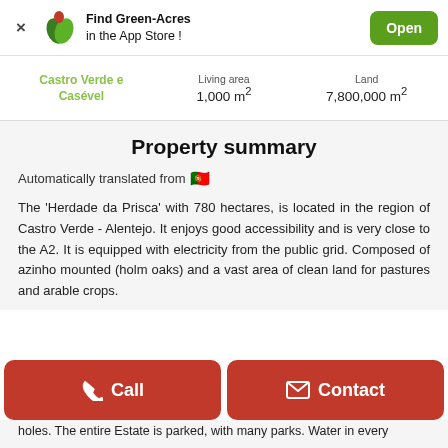Find Green-Acres in the App Store ! Open
Castro Verde e Casével  |  Living area 1,000 m²  |  Land 7,800,000 m²
Property summary
Automatically translated from 🇵🇹
The 'Herdade da Prisca' with 780 hectares, is located in the region of Castro Verde - Alentejo. It enjoys good accessibility and is very close to the A2. It is equipped with electricity from the public grid. Composed of azinho mounted (holm oaks) and a vast area of clean land for pastures and arable crops.
holes. The entire Estate is parked, with many parks. Water in every